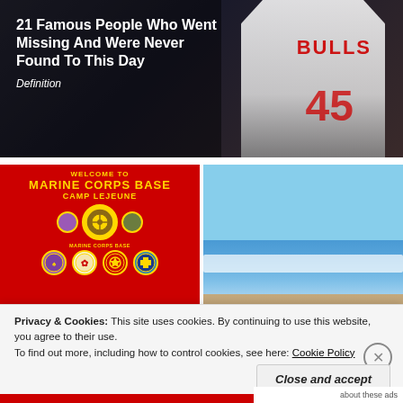[Figure (photo): Hero banner with basketball jersey (Bulls) in background, dark overlay on left side]
21 Famous People Who Went Missing And Were Never Found To This Day
Definition
[Figure (photo): Marine Corps Base Camp Lejeune welcome sign — red background with gold text and multiple unit insignia/seals]
[Figure (photo): Beach scene with blue sky, ocean waves, and sandy shore]
Stationed at Camp Lejeune...
Humanoid dinosaur...
Privacy & Cookies: This site uses cookies. By continuing to use this website, you agree to their use.
To find out more, including how to control cookies, see here: Cookie Policy
Close and accept